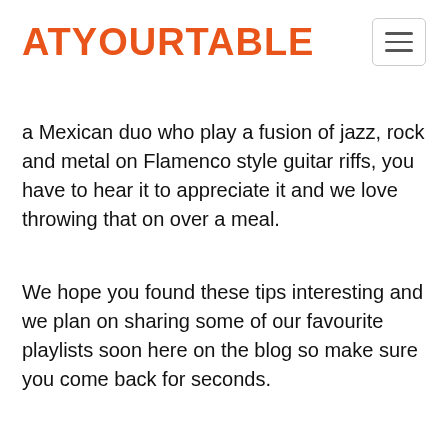ATYOURTABLE
a Mexican duo who play a fusion of jazz, rock and metal on Flamenco style guitar riffs, you have to hear it to appreciate it and we love throwing that on over a meal.
We hope you found these tips interesting and we plan on sharing some of our favourite playlists soon here on the blog so make sure you come back for seconds.